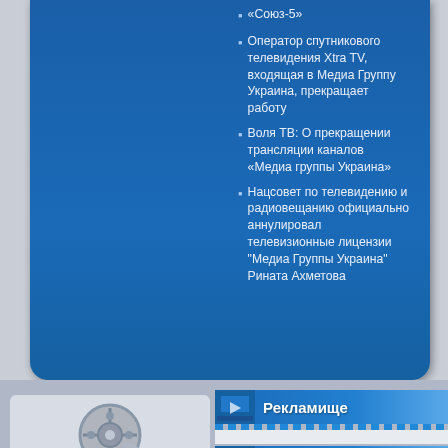«Союз-5»
Оператор спутникового телевидения Xtra TV, входящая в Медиа Группу Украина, прекращает работу
Воля ТВ: О прекращении трансляции каналов «Медиа группы Украина»
Нацсовет по телевидению и радиовещанию официально аннулировал телевизионные лицензии "Медиа Группы Украина" Рината Ахметова
[Figure (screenshot): Film reel icon placeholder on grey background]
Рекламище
Еще
19.08.2022
В начало
Меню сайта
Категории
Главная
Форум
Справочник для начинающих
Транспондер news
Градус
Граду